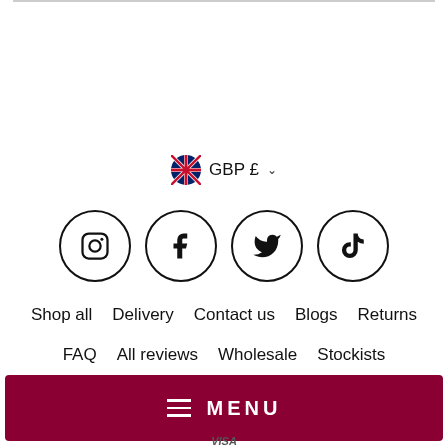[Figure (infographic): Currency selector showing UK flag and GBP £ with dropdown chevron]
[Figure (infographic): Four social media icon circles: Instagram, Facebook, Twitter, TikTok]
Shop all   Delivery   Contact us   Blogs   Returns
FAQ   All reviews   Wholesale   Stockists
[Figure (infographic): Dark red MENU button bar with hamburger icon and MENU text]
[Figure (infographic): Partial view of payment method logos including VISA]